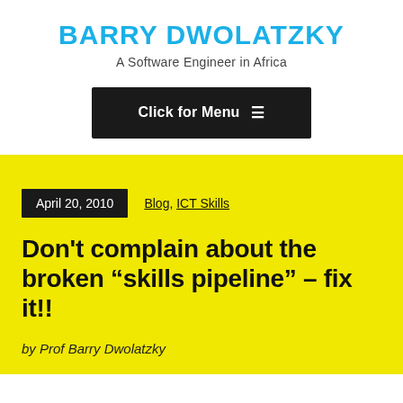BARRY DWOLATZKY
A Software Engineer in Africa
[Figure (other): Black button with text 'Click for Menu' and hamburger menu icon]
April 20, 2010    Blog, ICT Skills
Don't complain about the broken “skills pipeline” – fix it!!
by Prof Barry Dwolatzky